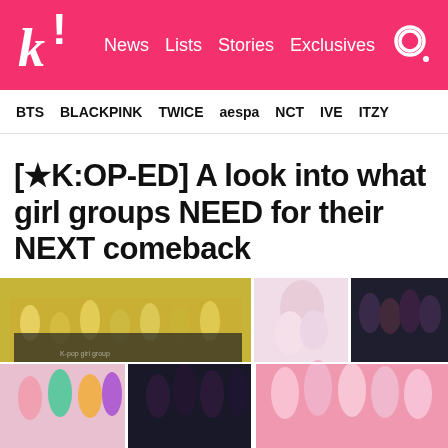k! News Lists Stories Exclusives
BTS BLACKPINK TWICE aespa NCT IVE ITZY
[★K:OP-ED] A look into what girl groups NEED for their NEXT comeback
[Figure (photo): Collage of six K-pop girl group promotional photos arranged in a 3-column grid. Top row: large image of a girl group in yellow and black outfits; center image of a girl group in white/pink dresses; right image of a dark-themed girl group. Bottom row: colorful girl group; dark-themed group photo; pink-themed girl group.]